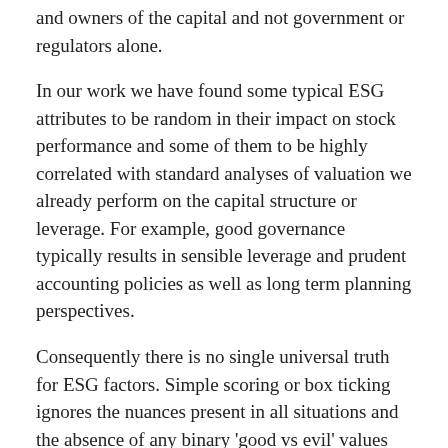and owners of the capital and not government or regulators alone.
In our work we have found some typical ESG attributes to be random in their impact on stock performance and some of them to be highly correlated with standard analyses of valuation we already perform on the capital structure or leverage. For example, good governance typically results in sensible leverage and prudent accounting policies as well as long term planning perspectives.
Consequently there is no single universal truth for ESG factors. Simple scoring or box ticking ignores the nuances present in all situations and the absence of any binary 'good vs evil' values system.
The many ESG providers of boxes to tick are also inconsistent in the boxes they choose. We believe it is